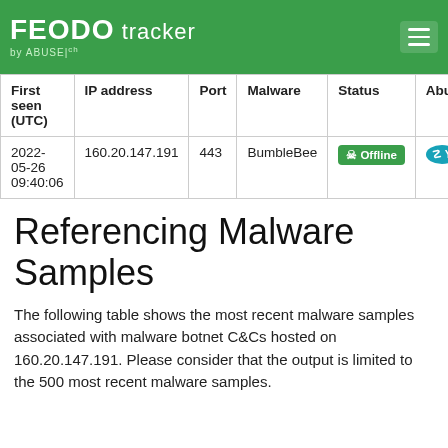FEODO tracker by ABUSE|ch
| First seen (UTC) | IP address | Port | Malware | Status | Abu... |
| --- | --- | --- | --- | --- | --- |
| 2022-05-26 09:40:06 | 160.20.147.191 | 443 | BumbleBee | Offline | Y... |
Referencing Malware Samples
The following table shows the most recent malware samples associated with malware botnet C&Cs hosted on 160.20.147.191. Please consider that the output is limited to the 500 most recent malware samples.